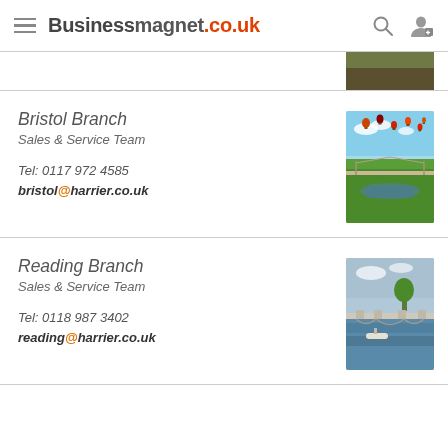Businessmagnet.co.uk
Bristol Branch
Sales & Service Team

Tel: 0117 972 4585
bristol@harrier.co.uk
[Figure (photo): Photo of Bristol with hot air balloons over the Clifton Suspension Bridge and green valley]
Reading Branch
Sales & Service Team

Tel: 0118 987 3402
reading@harrier.co.uk
[Figure (photo): Photo of Reading waterway with a bridge and boats]